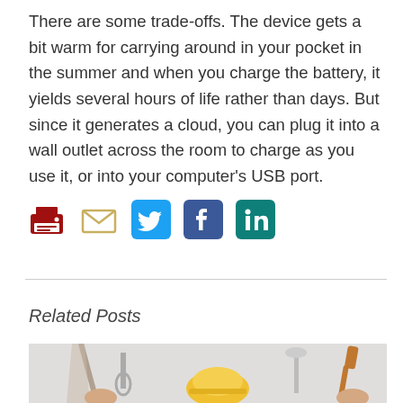There are some trade-offs. The device gets a bit warm for carrying around in your pocket in the summer and when you charge the battery, it yields several hours of life rather than days. But since it generates a cloud, you can plug it into a wall outlet across the room to charge as you use it, or into your computer's USB port.
[Figure (infographic): Social sharing icons: print (red), email (tan/yellow), Twitter (cyan-blue), Facebook (dark blue), LinkedIn (teal-blue)]
Related Posts
[Figure (photo): Photo of hands holding various tools including a wrench, hammer, saw, hard hat, and other construction/DIY tools against a light gray background]